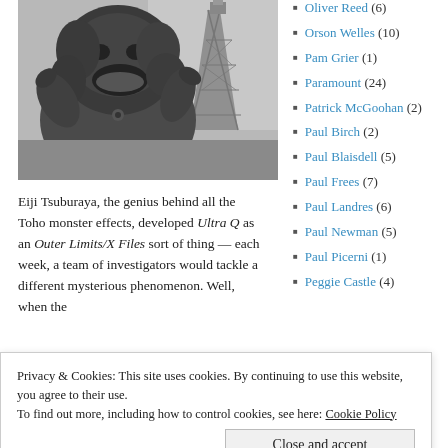[Figure (photo): Black and white photo of a monster costume (plant-like Toho creature) with open mouth and clawed hands, standing near a tower structure.]
Eiji Tsuburaya, the genius behind all the Toho monster effects, developed Ultra Q as an Outer Limits/X Files sort of thing — each week, a team of investigators would tackle a different mysterious phenomenon. Well, when the
Oliver Reed (6)
Orson Welles (10)
Pam Grier (1)
Paramount (24)
Patrick McGoohan (2)
Paul Birch (2)
Paul Blaisdell (5)
Paul Frees (7)
Paul Landres (6)
Paul Newman (5)
Paul Picerni (1)
Peggie Castle (4)
Privacy & Cookies: This site uses cookies. By continuing to use this website, you agree to their use. To find out more, including how to control cookies, see here: Cookie Policy
Close and accept